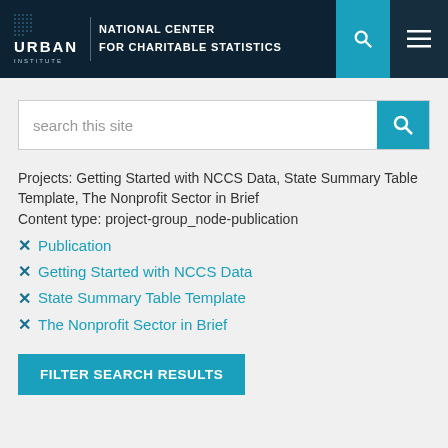URBAN INSTITUTE | NATIONAL CENTER FOR CHARITABLE STATISTICS
search this site
Projects: Getting Started with NCCS Data, State Summary Table Template, The Nonprofit Sector in Brief
Content type: project-group_node-publication
✕ Publication
✕ Getting Started with NCCS Data
✕ State Summary Table Template
✕ The Nonprofit Sector in Brief
FILTER SEARCH RESULTS